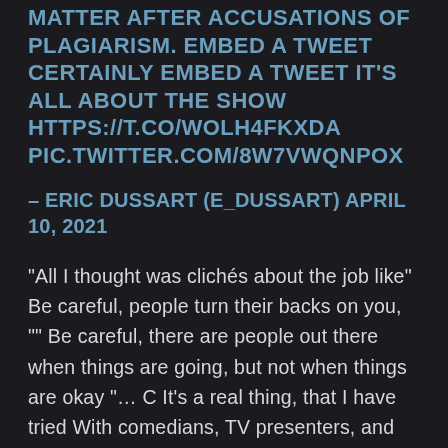MATTER AFTER ACCUSATIONS OF PLAGIARISM. EMBED A TWEET CERTAINLY EMBED A TWEET IT'S ALL ABOUT THE SHOW HTTPS://T.CO/WOLH4FKXDA PIC.TWITTER.COM/8W7VWQNPOX
– ERIC DUSSART (E_DUSSART) APRIL 10, 2021
“All I thought was clichés about the job like” Be careful, people turn their backs on you, ”” Be careful, there are people out there when things are going, but not when things are okay “... C It’s a real thing, that I have tried With comedians, TV presenters, and movie producers... But I got worse